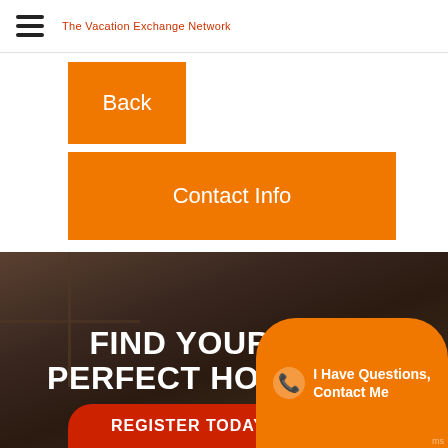The Vacation Exchange Network
Back
Contact Info
[Figure (photo): Dark interior room/hallway photo used as hero background]
FIND YOUR PERFECT HOLID
REGISTER TODAY
I Have Questions, Contact Me